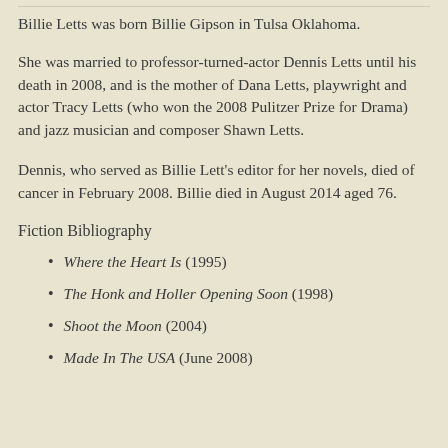Billie Letts was born Billie Gipson in Tulsa Oklahoma.
She was married to professor-turned-actor Dennis Letts until his death in 2008, and is the mother of Dana Letts, playwright and actor Tracy Letts (who won the 2008 Pulitzer Prize for Drama) and jazz musician and composer Shawn Letts.
Dennis, who served as Billie Lett's editor for her novels, died of cancer in February 2008. Billie died in August 2014 aged 76.
Fiction Bibliography
Where the Heart Is (1995)
The Honk and Holler Opening Soon (1998)
Shoot the Moon (2004)
Made In The USA (June 2008)